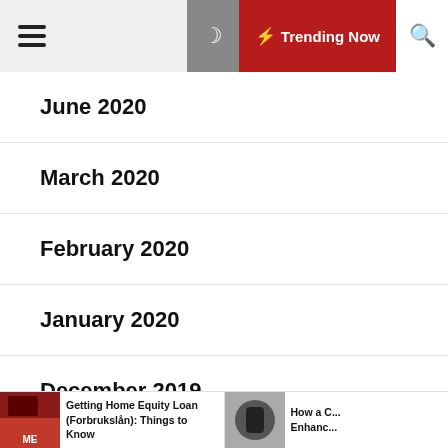Trending Now
June 2020
March 2020
February 2020
January 2020
December 2019
November 2019
October 2019
September 2019
Getting Home Equity Loan (Forbrukslån): Things to Know | How a C... Enhanc...